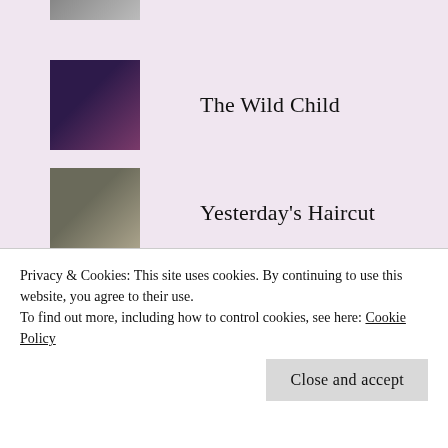[Figure (photo): Partial thumbnail at top, cropped]
The Wild Child
Yesterday's Haircut
Chai-Biscuit
Just a walk
Jeene Ke Ishaare ;
Privacy & Cookies: This site uses cookies. By continuing to use this website, you agree to their use.
To find out more, including how to control cookies, see here: Cookie Policy
Tiramisu